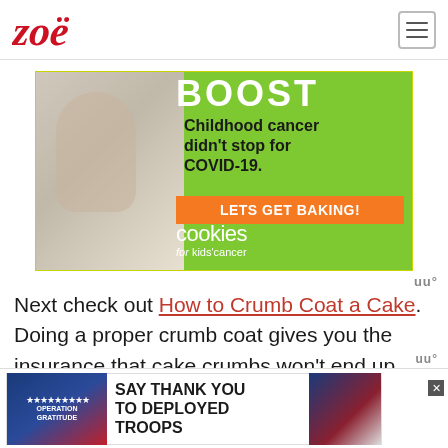[Figure (logo): Zoë blog logo in red cursive script]
[Figure (photo): Advertisement for Cookies for Kids Cancer: child holding a jar of money, green background, text reads 'Boost! Childhood cancer didn't stop for COVID-19. LETS GET BAKING! cookies for kids cancer']
Next check out How to Crumb Coat a Cake. Doing a proper crumb coat gives you the insurance that cake crumbs won't end up messing up your final layer of icing. Then
[Figure (photo): Bottom advertisement: Operation Gratitude - SAY THANK YOU TO DEPLOYED TROOPS]